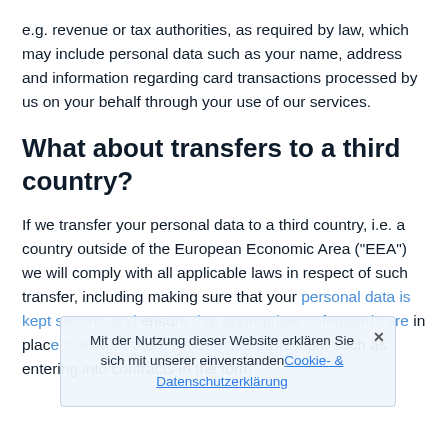e.g. revenue or tax authorities, as required by law, which may include personal data such as your name, address and information regarding card transactions processed by us on your behalf through your use of our services.
What about transfers to a third country?
If we transfer your personal data to a third country, i.e. a country outside of the European Economic Area ("EEA") we will comply with all applicable laws in respect of such transfer, including making sure that your personal data is kept secure, and ensure that appropriate safeguards are in place to ensure there is adequate protection, such as entering into contracts in the form
Mit der Nutzung dieser Website erklären Sie sich mit unserer einverstanden Cookie- & Datenschutzerklärung